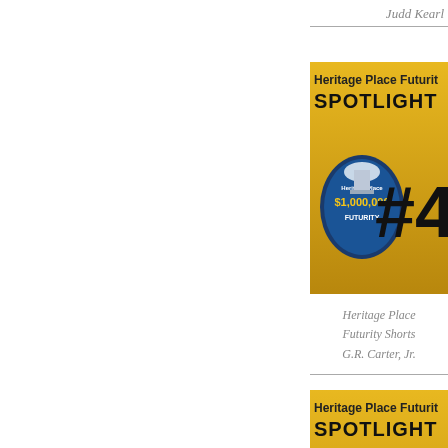Judd Kearl
[Figure (illustration): Heritage Place Futurity Spotlight #4 banner with gold background, Heritage Place $1,000,000 Futurity logo]
Heritage Place Futurity Shorts G.R. Carter, Jr.
[Figure (illustration): Heritage Place Futurity Spotlight #1 banner with gold background, Heritage Place $1,000,000 Futurity logo]
Heritage Place Futurity Shorts Cody Jensen